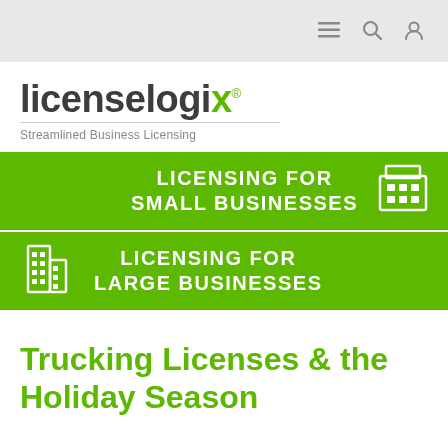Navigation bar with menu, search, and user icons
[Figure (logo): LicenseLogix logo with tagline 'Streamlined Business Licensing']
[Figure (infographic): Green banner: LICENSING FOR SMALL BUSINESSES with building icon]
[Figure (infographic): Green banner: LICENSING FOR LARGE BUSINESSES with large building icon]
Trucking Licenses & the Holiday Season